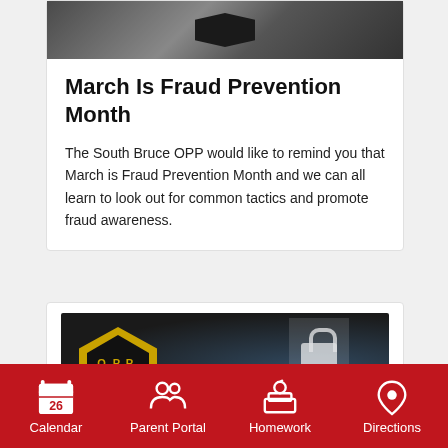[Figure (photo): OPP badge/uniform photo at top of first card]
March Is Fraud Prevention Month
The South Bruce OPP would like to remind you that March is Fraud Prevention Month and we can all learn to look out for common tactics and promote fraud awareness.
[Figure (photo): OPP logo with digital security padlock/shield imagery]
Calendar  Parent Portal  Homework  Directions